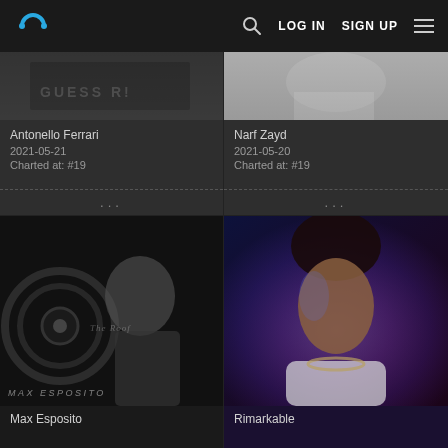LOG IN  SIGN UP
[Figure (screenshot): Artist card for Antonello Ferrari showing a partial photo with text 'GUESS R?' visible on clothing. Date 2021-05-21, Charted at: #19]
[Figure (screenshot): Artist card for Narf Zayd showing a black and white partial photo. Date 2021-05-20, Charted at: #19]
[Figure (photo): Black and white portrait photo of Max Esposito looking upward, with 'The Roof' venue logo visible in background]
[Figure (photo): Color photo of Rimarkable, a female artist with natural hair, wearing a white top and statement necklace, lit with blue/purple lighting]